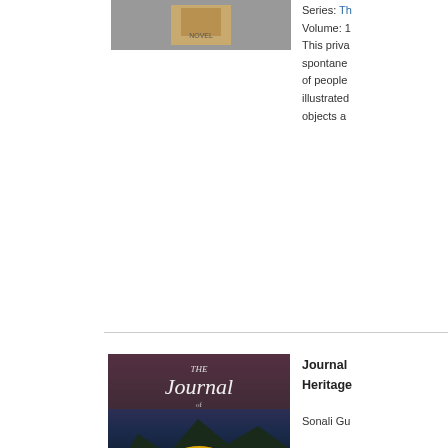[Figure (photo): Top book cover image, partially visible at top of page]
Series: Th
Volume: 1
This priva... spontane... of people... illustrated... objects a...
[Figure (photo): Book cover: The Journal of Heritage Studies, showing sunset over mountains and a doorway]
Journal of Heritage

Sonali Gu...

£22.00

ISBN: 97...
Published...
Series: Jo... Heritage...
This website requires cookies to provide all of its features. For more informa... on what data is contained in the cookies, please see our Cookie Notice. To accept cookies from this site, please click the Allow Cookies button below.
Allow Cookies